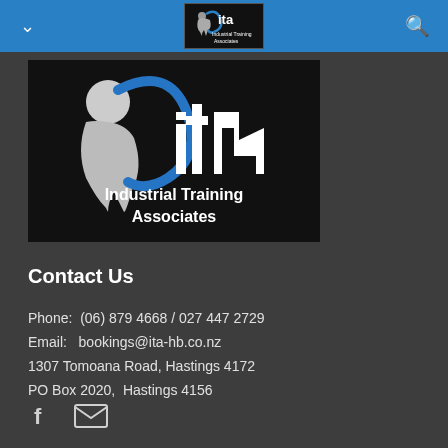Industrial Training Associates navigation bar
[Figure (logo): Industrial Training Associates (ITA) logo on black background — stylized ITA letters with a blue swoosh and a person figure, with text 'Industrial Training Associates' below]
Contact Us
Phone:  (06) 879 4668 / 027 447 2729
Email:  bookings@ita-hb.co.nz
1307 Tomoana Road, Hastings 4172
PO Box 2020,  Hastings 4156
[Figure (illustration): Facebook icon (f) and email envelope icon in white/grey on dark background]